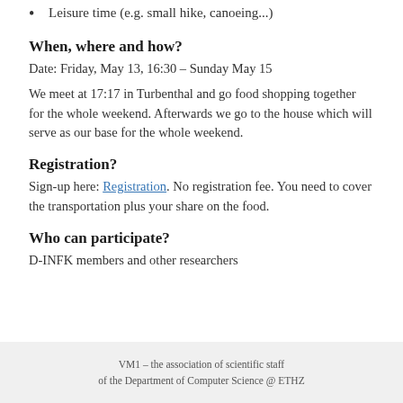Leisure time (e.g. small hike, canoeing...)
When, where and how?
Date: Friday, May 13, 16:30 – Sunday May 15
We meet at 17:17 in Turbenthal and go food shopping together for the whole weekend. Afterwards we go to the house which will serve as our base for the whole weekend.
Registration?
Sign-up here: Registration. No registration fee. You need to cover the transportation plus your share on the food.
Who can participate?
D-INFK members and other researchers
VM1 – the association of scientific staff of the Department of Computer Science @ ETHZ